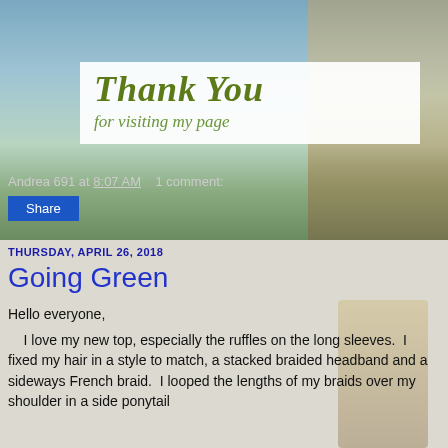[Figure (photo): Beach background photo with a woman with long blonde hair in a floral outfit, tropical coastline with ocean and palm trees]
[Figure (illustration): Thank You for visiting my page graphic with decorative green leafy text on white background]
Andrea 691 at 8:07 AM   1 comment:
Share
THURSDAY, APRIL 26, 2018
Going Green
Hello everyone,
I love my new top, especially the ruffles on the long sleeves.  I fixed my hair in a style to match, a stacked braided headband and a sideways French braid.  I looped the lengths of my braids over my shoulder in a side ponytail